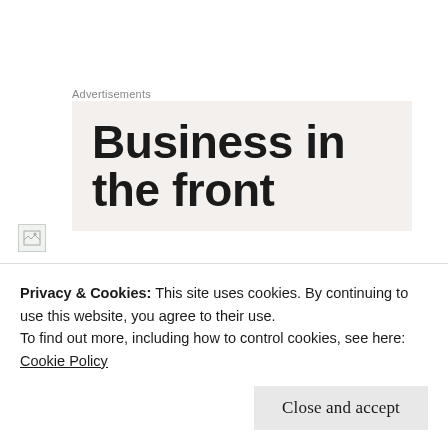Advertisements
[Figure (other): Advertisement banner with large bold text reading 'Business in the front' on a light beige/grey background, text is partially cropped]
[Figure (photo): Broken/unloaded image placeholder icon]
[Figure (other): Partial UI element with circular icon and bold text partially visible]
Privacy & Cookies: This site uses cookies. By continuing to use this website, you agree to their use.
To find out more, including how to control cookies, see here: Cookie Policy
Close and accept